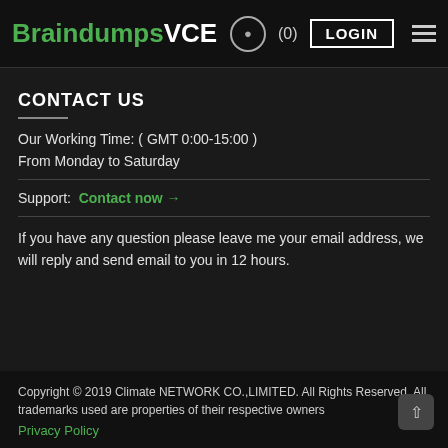BraindumpsVCE (0) LOGIN
CONTACT US
Our Working Time: ( GMT 0:00-15:00 )
From Monday to Saturday
Support: Contact now →
If you have any question please leave me your email address, we will reply and send email to you in 12 hours.
Copyright © 2019 Climate NETWORK CO.,LIMITED. All Rights Reserved. All trademarks used are properties of their respective owners Privacy Policy